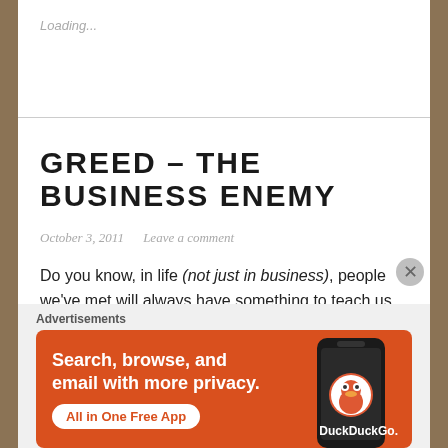Loading...
GREED – THE BUSINESS ENEMY
October 3, 2011   Leave a comment
Do you know, in life (not just in business), people we've met will always have something to teach us. If you notice it,
Advertisements
[Figure (screenshot): DuckDuckGo advertisement banner: orange background with white text reading 'Search, browse, and email with more privacy. All in One Free App' and a phone graphic with the DuckDuckGo logo and wordmark.]